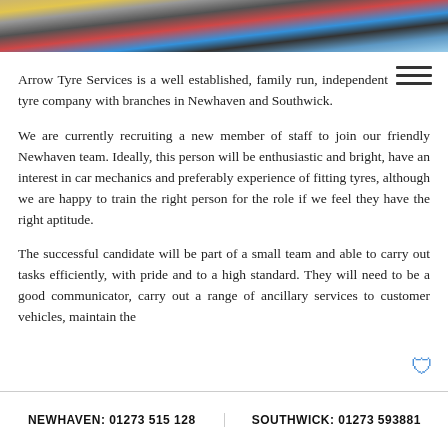[Figure (photo): Photo banner showing tyres and automotive parts in colors including yellow, red, blue, and dark tones]
Arrow Tyre Services is a well established, family run, independent tyre company with branches in Newhaven and Southwick.
We are currently recruiting a new member of staff to join our friendly Newhaven team. Ideally, this person will be enthusiastic and bright, have an interest in car mechanics and preferably experience of fitting tyres, although we are happy to train the right person for the role if we feel they have the right aptitude.
The successful candidate will be part of a small team and able to carry out tasks efficiently, with pride and to a high standard. They will need to be a good communicator, carry out a range of ancillary services to customer vehicles, maintain the cleanliness of the centre and be flexible in their
NEWHAVEN: 01273 515 128    SOUTHWICK: 01273 593881